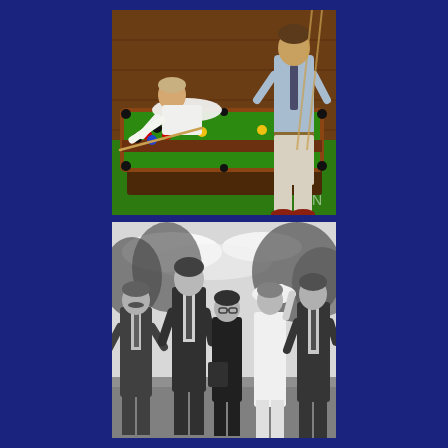[Figure (photo): Color photograph of two men in a wooden-paneled billiards/pool room. One man in a white shirt leans over a green pool table taking a shot, while another man in a light blue shirt and tie stands watching. Several colored snooker balls are visible on the green felt table. Pool cues and bicycles are visible in the background.]
[Figure (photo): Black and white photograph of a group of five people outdoors, walking together and smiling. From left to right: a man in a suit with a tie, a tall young man in a dark suit with a tie, a woman in dark clothing, a woman in a white dress adjusting a white hat, and a man in a dark suit. Trees are visible in the background.]